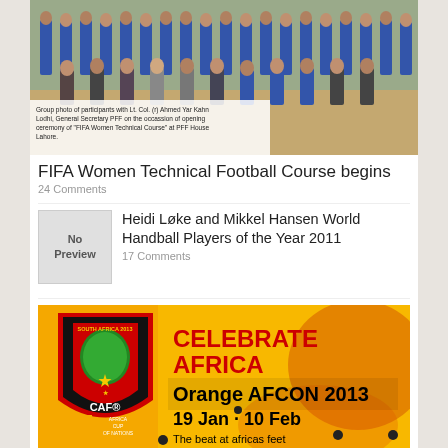[Figure (photo): Group photo of participants in blue tracksuits seated in rows, with suited officials in front row, at PFF House Lahore for FIFA Women Technical Course opening ceremony]
Group photo of participants with Lt. Col. (r) Ahmed Yar Kahn Lodhi, General Secretary PFF on the occassion of opening ceremony of "FIFA Women Technical Course" at PFF House Lahore.
FIFA Women Technical Football Course begins
24 Comments
[Figure (photo): No Preview placeholder image]
Heidi Løke and Mikkel Hansen World Handball Players of the Year 2011
17 Comments
[Figure (photo): Orange AFCON 2013 promotional banner - Celebrate Africa, Orange AFCON 2013, 19 Jan - 10 Feb, The beat at africas feet. Shows CAF Africa Cup of Nations South Africa 2013 logo badge on left side with orange background.]
Dedicated section launched by CAF and Orange